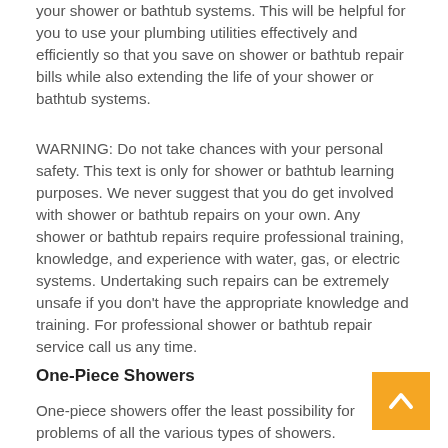your shower or bathtub systems. This will be helpful for you to use your plumbing utilities effectively and efficiently so that you save on shower or bathtub repair bills while also extending the life of your shower or bathtub systems.
WARNING: Do not take chances with your personal safety. This text is only for shower or bathtub learning purposes. We never suggest that you do get involved with shower or bathtub repairs on your own. Any shower or bathtub repairs require professional training, knowledge, and experience with water, gas, or electric systems. Undertaking such repairs can be extremely unsafe if you don't have the appropriate knowledge and training. For professional shower or bathtub repair service call us any time.
One-Piece Showers
One-piece showers offer the least possibility for problems of all the various types of showers. Because